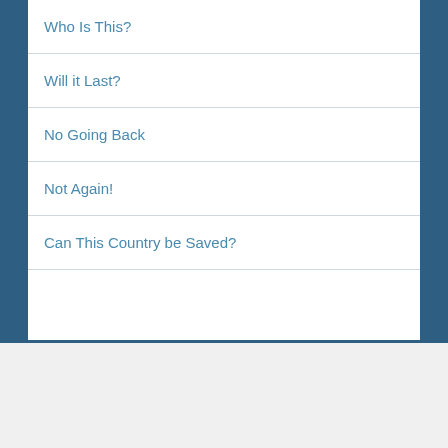Who Is This?
Will it Last?
No Going Back
Not Again!
Can This Country be Saved?